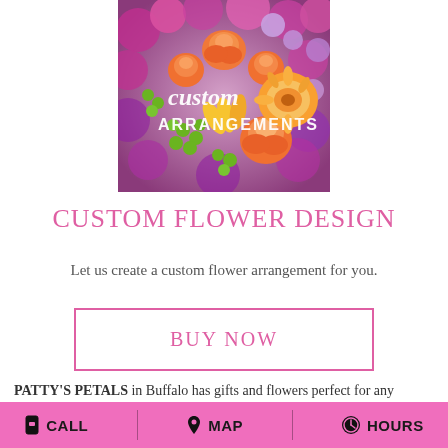[Figure (photo): Colorful floral arrangement with orange roses, pink/purple flowers, and green berries with cursive 'custom ARRANGEMENTS' text overlay]
CUSTOM FLOWER DESIGN
Let us create a custom flower arrangement for you.
BUY NOW
PATTY'S PETALS in Buffalo has gifts and flowers perfect for any anniversary, whether it is your first or your 50th. Anniversary
CALL   MAP   HOURS